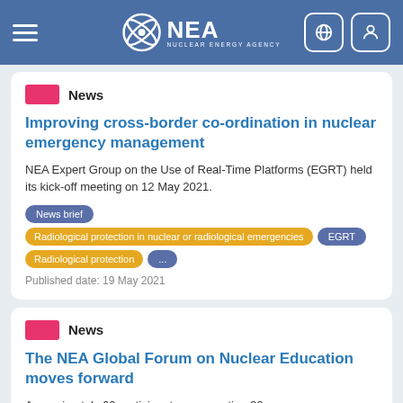NEA Nuclear Energy Agency
News
Improving cross-border co-ordination in nuclear emergency management
NEA Expert Group on the Use of Real-Time Platforms (EGRT) held its kick-off meeting on 12 May 2021.
News brief
Radiological protection in nuclear or radiological emergencies
EGRT
Radiological protection
...
Published date: 19 May 2021
News
The NEA Global Forum on Nuclear Education moves forward
Approximately 60 participants representing 20